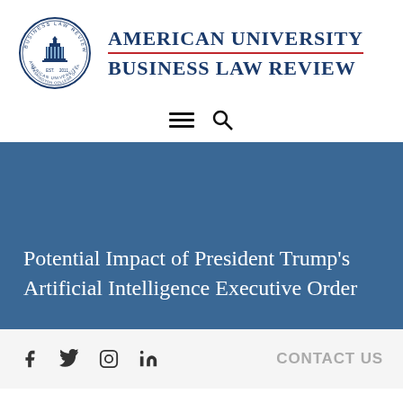[Figure (logo): American University Business Law Review circular seal with Capitol building, EST. 2011, Washington College of Law text around the border]
American University Business Law Review
[Figure (other): Navigation bar with hamburger menu icon and search icon]
Potential Impact of President Trump's Artificial Intelligence Executive Order
f  twitter  instagram  linkedin   CONTACT US